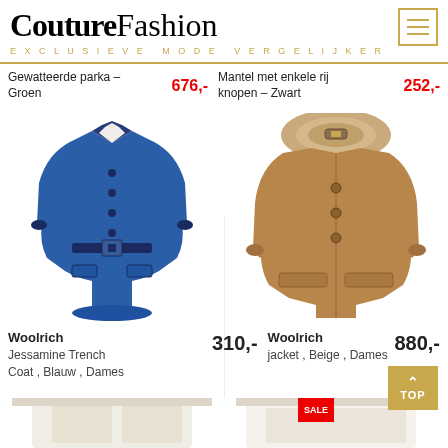CoutureFashion — EXCLUSIEVE MODE VERGELIJKER
Gewatteerde parka – Groen  676,-   Mantel met enkele rij knopen – Zwart  252,-
[Figure (photo): Blue belted women's trench coat (Woolrich Jessamine Trench Coat, Blauw)]
[Figure (photo): Beige/camel women's parka with fur-trimmed hood (Woolrich jacket, Beige)]
Woolrich  310,-  Jessamine Trench Coat , Blauw , Dames
Woolrich  880,-  jacket , Beige , Dames
[Figure (photo): Partial view of a white/cream women's coat (bottom of page, left)]
[Figure (photo): Partial view of a white women's coat (bottom of page, right)]